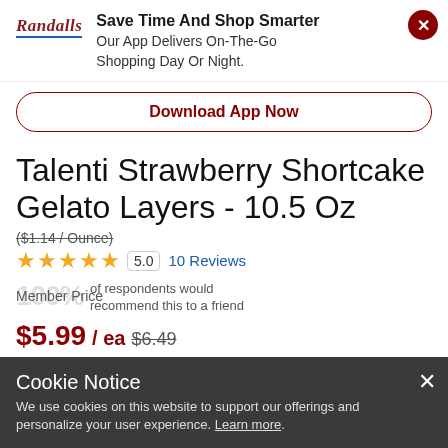[Figure (logo): Randalls grocery store logo in red italic serif font with blue underline]
Save Time And Shop Smarter
Our App Delivers On-The-Go Shopping Day Or Night.
Download App Now
Talenti Strawberry Shortcake Gelato Layers - 10.5 Oz
($1.14 / Ounce)
★★★★★ 5.0 10 Reviews
100% of respondents would recommend this to a friend
Member Price
$5.99 / ea $6.49
$5.99 Save Up To: $0.5 (Valid for orders through 9/13/22)
Cookie Notice
We use cookies on this website to support our offerings and personalize your user experience. Learn more.